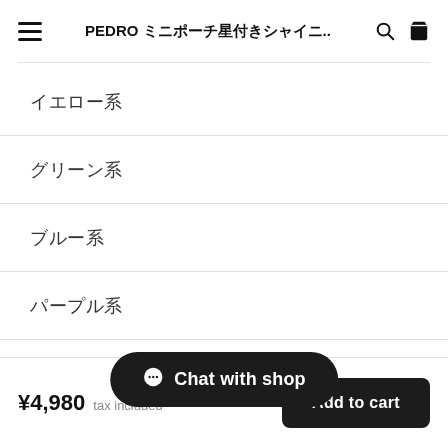PEDRO ミニポーチ星付きシャイニ..
イエロー系
グリーン系
ブルー系
パープル系
ピンク系
モノトーン系
Chat with shop
¥4,980  tax included
Add to cart